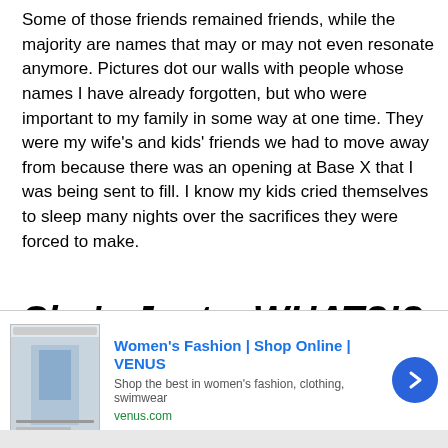Some of those friends remained friends, while the majority are names that may or may not even resonate anymore. Pictures dot our walls with people whose names I have already forgotten, but who were important to my family in some way at one time. They were my wife's and kids' friends we had to move away from because there was an opening at Base X that I was being sent to fill. I know my kids cried themselves to sleep many nights over the sacrifices they were forced to make.
She's Just a WHAT?!?
[Figure (screenshot): Advertisement banner for Women's Fashion at VENUS (venus.com) showing a fashion photo and a blue arrow button]